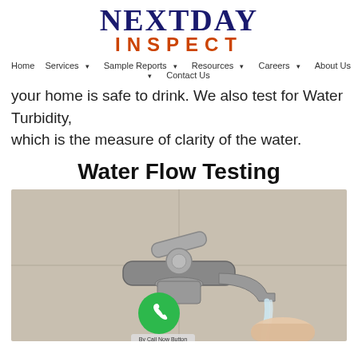NEXTDAY INSPECT — Home | Services | Sample Reports | Resources | Careers | About Us | Contact Us
your home is safe to drink. We also test for Water Turbidity, which is the measure of clarity of the water.
Water Flow Testing
[Figure (photo): Close-up photo of a chrome bathroom faucet with water running from the tap; a hand is visible beneath the running water. A green phone call button (Call Now Button) is overlaid on the image.]